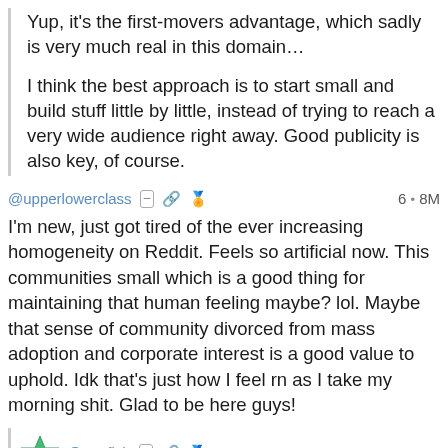Yup, it's the first-movers advantage, which sadly is very much real in this domain…

I think the best approach is to start small and build stuff little by little, instead of trying to reach a very wide audience right away. Good publicity is also key, of course.
@upperlowerclass  6 • 8M
I'm new, just got tired of the ever increasing homogeneity on Reddit. Feels so artificial now. This communities small which is a good thing for maintaining that human feeling maybe? lol. Maybe that sense of community divorced from mass adoption and corporate interest is a good value to uphold. Idk that's just how I feel rn as I take my morning shit. Glad to be here guys!
@starfish  5 • 8M
I am newb as well. I heard about it before " decentrilized